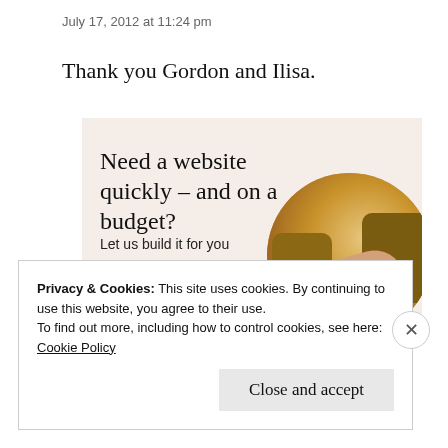July 17, 2012 at 11:24 pm
Thank you Gordon and Ilisa.
[Figure (infographic): Advertisement panel with beige/blush background. Headline: 'Need a website quickly – and on a budget?', subtext: 'Let us build it for you', button: 'Let's get started', and a circular cropped image of a person in an orange/brown sweater working on a laptop.]
Privacy & Cookies: This site uses cookies. By continuing to use this website, you agree to their use.
To find out more, including how to control cookies, see here:
Cookie Policy
Close and accept